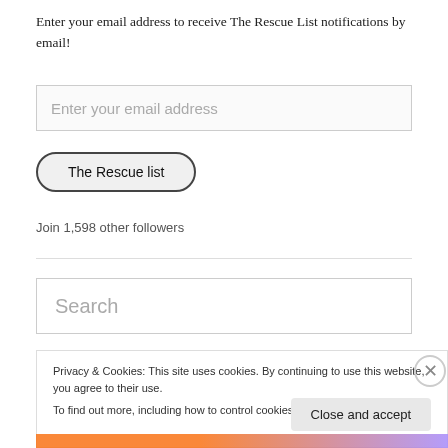Enter your email address to receive The Rescue List notifications by email!
Enter your email address
The Rescue list
Join 1,598 other followers
Search
Privacy & Cookies: This site uses cookies. By continuing to use this website, you agree to their use.
To find out more, including how to control cookies, see here: Cookie Policy
Close and accept